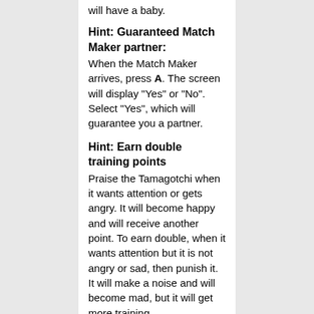will have a baby.
Hint: Guaranteed Match Maker partner:
When the Match Maker arrives, press A. The screen will display "Yes" or "No". Select "Yes", which will guarantee you a partner.
Hint: Earn double training points
Praise the Tamagotchi when it wants attention or gets angry. It will become happy and will receive another point. To earn double, when it wants attention but it is not angry or sad, then punish it. It will make a noise and will become mad, but it will get more training.
Hint: Traning